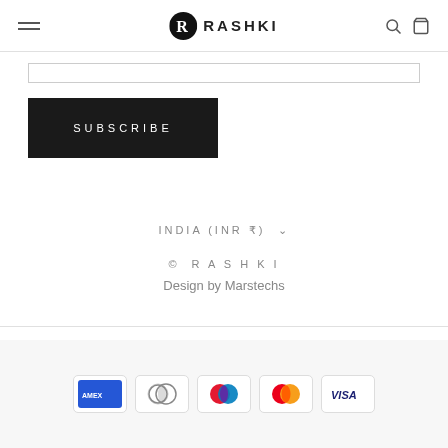RASHKI
[Figure (other): Input field border (email subscribe form)]
SUBSCRIBE
INDIA (INR ₹)
© RASHKI
Design by Marstechs
[Figure (other): Payment method icons: American Express, Diners Club, Maestro, Mastercard, Visa]